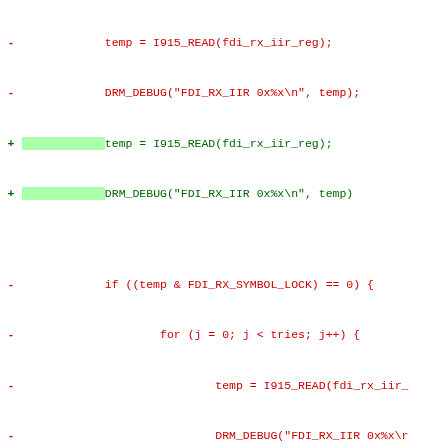[Figure (screenshot): Code diff showing removed (red, minus) and added (green, plus) lines of C code for FDI RX IIR register reading and symbol lock checking logic]